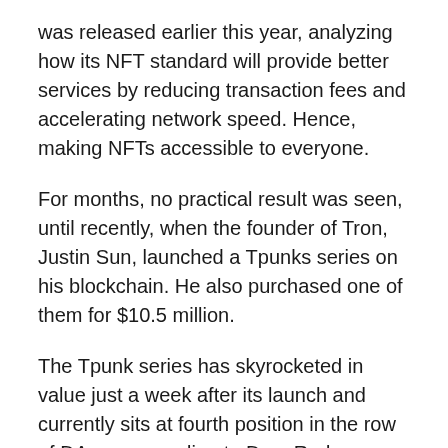was released earlier this year, analyzing how its NFT standard will provide better services by reducing transaction fees and accelerating network speed. Hence, making NFTs accessible to everyone.
For months, no practical result was seen, until recently, when the founder of Tron, Justin Sun, launched a Tpunks series on his blockchain. He also purchased one of them for $10.5 million.
The Tpunk series has skyrocketed in value just a week after its launch and currently sits at fourth position in the row of DApps, according to DappRadar.
Too much can't be said about Tron's dive into NFTs yet because it houses only one major NFT project currently. But the low transaction fees of the Tron